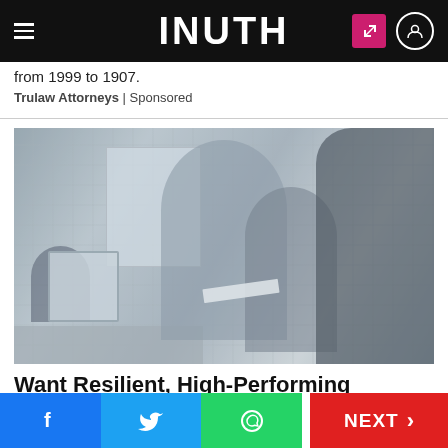INUTH
from 1999 to 1907.
Trulaw Attorneys | Sponsored
[Figure (photo): Office scene with multiple people collaborating, a woman with glasses smiling, another woman looking at papers, and a man in the foreground, with computers and a whiteboard in the background.]
Want Resilient, High-Performing